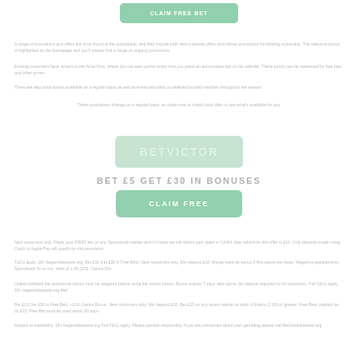[Figure (other): Green button with white text, likely a CTA button at top of page]
Faded body text lines — paragraph about betting or gambling offers
Faded body text lines — paragraph about terms and conditions
Faded body text lines — additional paragraph
Faded body text lines — additional paragraph
[Figure (logo): BetVictor logo in light green/grey rounded rectangle]
BET £5 GET £30 IN BONUSES
[Figure (other): CLAIM FREE green button]
Faded body text — terms and conditions paragraph 1
Faded body text — terms and conditions paragraph 2
Faded body text — terms and conditions paragraph 3
Faded body text — terms and conditions paragraph 4
Faded body text — terms and conditions paragraph 5